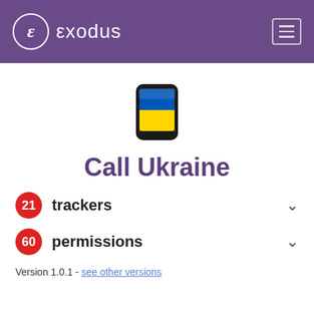εxodus
[Figure (illustration): Smartphone icon showing Ukrainian flag (blue and yellow) on screen, with rounded black device frame]
Call Ukraine
21 trackers
60 permissions
Version 1.0.1 - see other versions